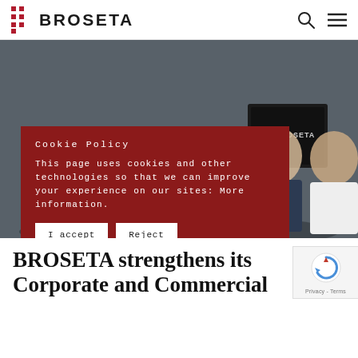BROSETA
[Figure (photo): Group photo of BROSETA law firm professionals standing and seated in a conference room in front of a Broseta-branded screen. Six people visible — men in suits and a woman in white. Dark grey background.]
Cookie Policy
This page uses cookies and other technologies so that we can improve your experience on our sites: More information.
I accept
Reject
BROSETA strengthens its Corporate and Commercial